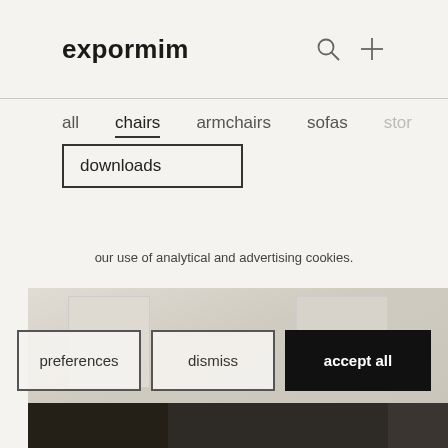expormim
all
chairs
armchairs
sofas
stor
downloads
our use of analytical and advertising cookies.
preferences
dismiss
accept all
[Figure (photo): Interior room scene with furniture, warm neutral tones]